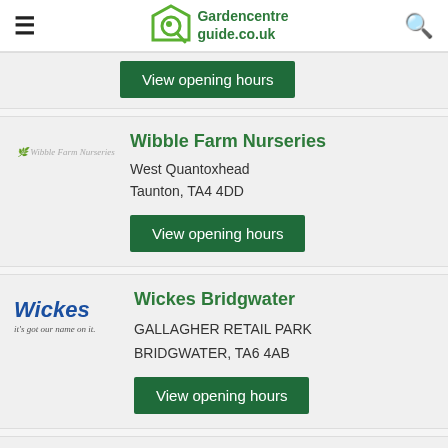Gardencentreguide.co.uk
View opening hours
Wibble Farm Nurseries
West Quantoxhead
Taunton, TA4 4DD
View opening hours
Wickes Bridgwater
GALLAGHER RETAIL PARK
BRIDGWATER, TA6 4AB
View opening hours
Wickes Taunton Extra